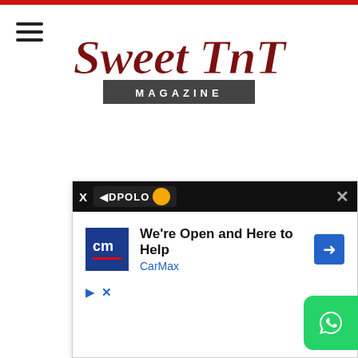[Figure (logo): Sweet TnT Magazine logo with script text and magazine bar below]
[Figure (screenshot): Advertisement overlay: AdPolo ad unit showing CarMax 'We're Open and Here to Help' ad with CM logo, navigation arrow icon, and WhatsApp button on right side]